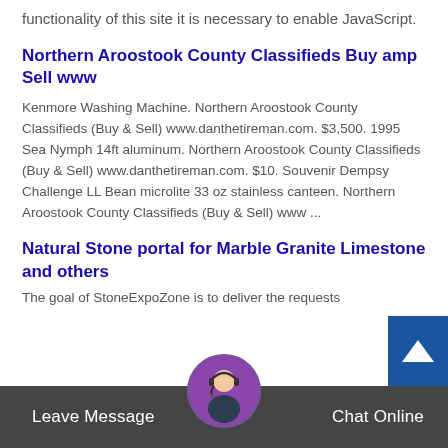functionality of this site it is necessary to enable JavaScript.
Northern Aroostook County Classifieds Buy amp Sell www
Kenmore Washing Machine. Northern Aroostook County Classifieds (Buy & Sell) www.danthetireman.com. $3,500. 1995 Sea Nymph 14ft aluminum. Northern Aroostook County Classifieds (Buy & Sell) www.danthetireman.com. $10. Souvenir Dempsy Challenge LL Bean microlite 33 oz stainless canteen. Northern Aroostook County Classifieds (Buy & Sell) www ...
Natural Stone portal for Marble Granite Limestone and others
The goal of StoneExpoZone is to deliver the requests
Leave Message
Chat Online